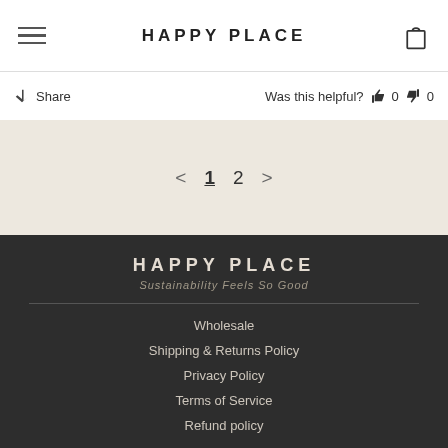HAPPY PLACE
Share   Was this helpful?  👍 0  👎 0
< 1 2 >
HAPPY PLACE
Sustainability Feels So Good
Wholesale
Shipping & Returns Policy
Privacy Policy
Terms of Service
Refund policy